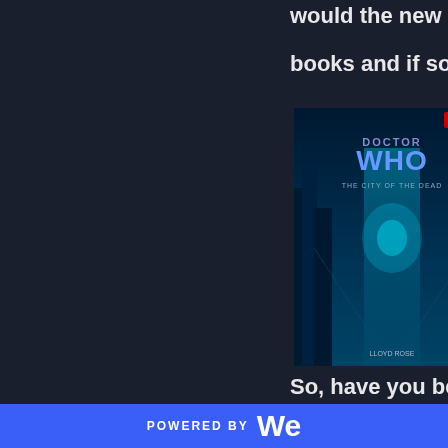would the new gene...
books and if so what...
[Figure (photo): Doctor Who: The City of the Dead book cover featuring blue/teal city architecture and the Doctor Who logo]
Whether t... Rose, La... also "Fea... by Paul L... Empress'... are heaps...
So, have you been w...
[Figure (photo): Doctor Who: Short Trips Volume 1 audio cover featuring multiple Doctors, the TARDIS, and dramatic orange/red background]
S... s...
POWERED BY We...